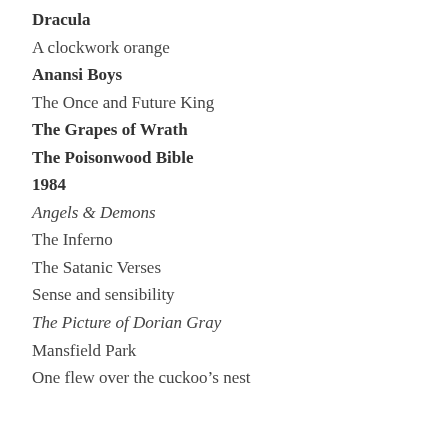Dracula
A clockwork orange
Anansi Boys
The Once and Future King
The Grapes of Wrath
The Poisonwood Bible
1984
Angels & Demons
The Inferno
The Satanic Verses
Sense and sensibility
The Picture of Dorian Gray
Mansfield Park
One flew over the cuckoo’s nest